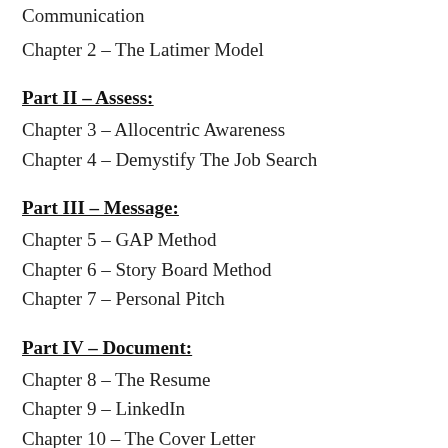Communication
Chapter 2 – The Latimer Model
Part II – Assess:
Chapter 3 – Allocentric Awareness
Chapter 4 – Demystify The Job Search
Part III – Message:
Chapter 5 – GAP Method
Chapter 6 – Story Board Method
Chapter 7 – Personal Pitch
Part IV – Document:
Chapter 8 – The Resume
Chapter 9 – LinkedIn
Chapter 10 – The Cover Letter